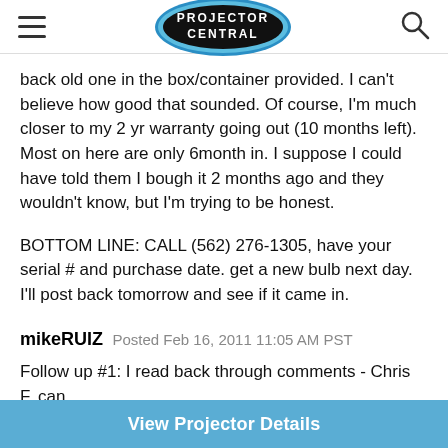PROJECTOR CENTRAL
back old one in the box/container provided. I can't believe how good that sounded. Of course, I'm much closer to my 2 yr warranty going out (10 months left). Most on here are only 6month in. I suppose I could have told them I bough it 2 months ago and they wouldn't know, but I'm trying to be honest.

BOTTOM LINE: CALL (562) 276-1305, have your serial # and purchase date. get a new bulb next day. I'll post back tomorrow and see if it came in.
mikeRUIZ  Posted Feb 16, 2011 11:05 AM PST

Follow up #1: I read back through comments - Chris F, can
View Projector Details